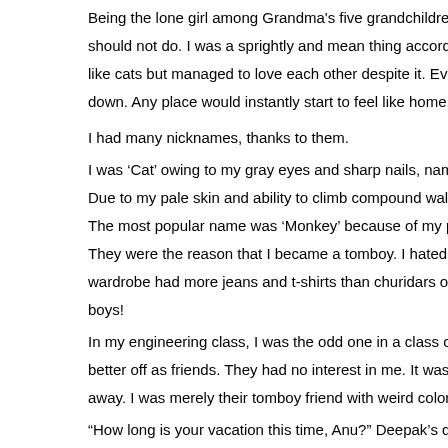Being the lone girl among Grandma's five grandchildren, I had done things I should not do. I was a sprightly and mean thing according to my cousins. We fought like cats but managed to love each other despite it. Even now when we sit down. Any place would instantly start to feel like home.
I had many nicknames, thanks to them.
I was 'Cat' owing to my gray eyes and sharp nails, name given by K
Due to my pale skin and ability to climb compound walls, Navneeth
The most popular name was 'Monkey' because of my prowess in c
They were the reason that I became a tomboy. I hated girly stuff and my wardrobe had more jeans and t-shirts than churidars or skirts. Bless the boys!
In my engineering class, I was the odd one in a class overflowing with boys better off as friends. They had no interest in me. It was not that I was pushed away. I was merely their tomboy friend with weird colored eyes.
“How long is your vacation this time, Anu?” Deepak’s question ended
“I will be here till the 18th of July.” Enthusiastic cheers from the trio